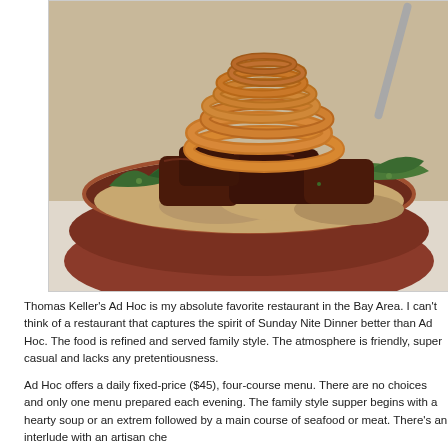[Figure (photo): A rustic ceramic bowl filled with braised short ribs or meat, topped with crispy fried onion rings, surrounded by sautéed greens and mushrooms. The bowl is reddish-brown glazed pottery.]
Thomas Keller's Ad Hoc is my absolute favorite restaurant in the Bay Area. I can't think of a restaurant that captures the spirit of Sunday Nite Dinner better than Ad Hoc. The food is refined and served family style. The atmosphere is friendly, super casual and lacks any pretentiousness.
Ad Hoc offers a daily fixed-price ($45), four-course menu. There are no choices and only one menu prepared each evening. The family style supper begins with a hearty soup or an extremely followed by a main course of seafood or meat. There's an interlude with an artisan che...